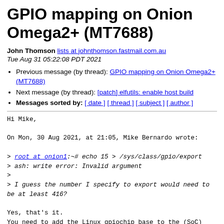GPIO mapping on Onion Omega2+ (MT7688)
John Thomson lists at johnthomson.fastmail.com.au
Tue Aug 31 05:22:08 PDT 2021
Previous message (by thread): GPIO mapping on Onion Omega2+ (MT7688)
Next message (by thread): [patch] elfutils: enable host build
Messages sorted by: [ date ] [ thread ] [ subject ] [ author ]
Hi Mike,

On Mon, 30 Aug 2021, at 21:05, Mike Bernardo wrote:

> root at onion1:~# echo 15 > /sys/class/gpio/export
> ash: write error: Invalid argument
>
> I guess the number I specify to export would need to be at least 416?

Yes, that's it.
You need to add the Linux gpiochip base to the (SoC)
GPIO number you want to use.